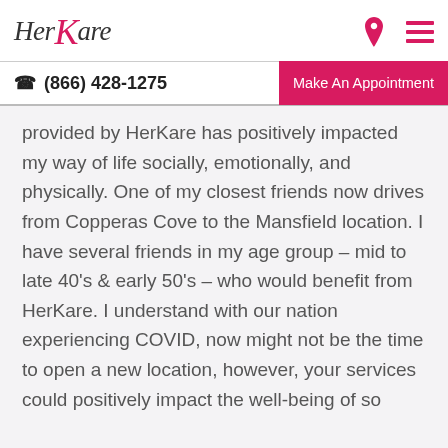[Figure (logo): HerKare logo in cursive/script font with a stylized pink K]
(866) 428-1275   Make An Appointment
provided by HerKare has positively impacted my way of life socially, emotionally, and physically. One of my closest friends now drives from Copperas Cove to the Mansfield location. I have several friends in my age group – mid to late 40's & early 50's – who would benefit from HerKare. I understand with our nation experiencing COVID, now might not be the time to open a new location, however, your services could positively impact the well-being of so